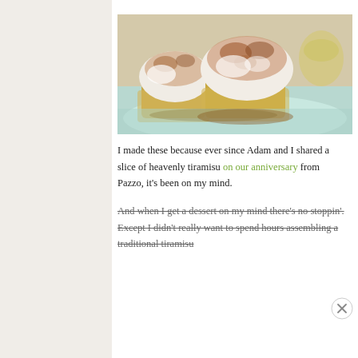[Figure (photo): Close-up photo of tiramisu cupcakes on a light blue plate. The cupcakes have cream/mascarpone topping dusted with cocoa powder. Background is blurred with more desserts visible.]
I made these because ever since Adam and I shared a slice of heavenly tiramisu on our anniversary from Pazzo, it's been on my mind.
And when I get a dessert on my mind there's no stoppin'. Except I didn't really want to spend hours assembling a traditional tiramisu